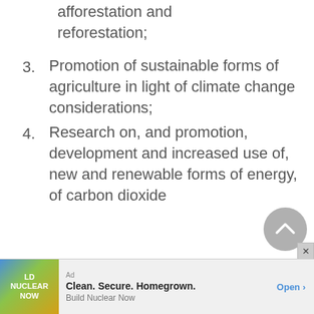afforestation and reforestation;
3. Promotion of sustainable forms of agriculture in light of climate change considerations;
4. Research on, and promotion, development and increased use of, new and renewable forms of energy, of carbon dioxide